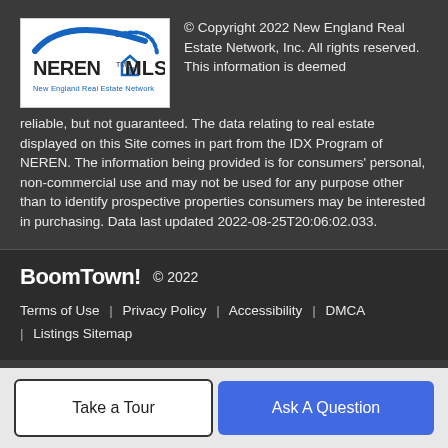[Figure (logo): NEREN MLS - New England Real Estate Network logo with blue swoosh and house icon]
© Copyright 2022 New England Real Estate Network, Inc. All rights reserved. This information is deemed reliable, but not guaranteed. The data relating to real estate displayed on this Site comes in part from the IDX Program of NEREN. The information being provided is for consumers' personal, non-commercial use and may not be used for any purpose other than to identify prospective properties consumers may be interested in purchasing. Data last updated 2022-08-25T20:06:02.033.
BoomTown! © 2022
Terms of Use | Privacy Policy | Accessibility | DMCA | Listings Sitemap
Take a Tour
Ask A Question